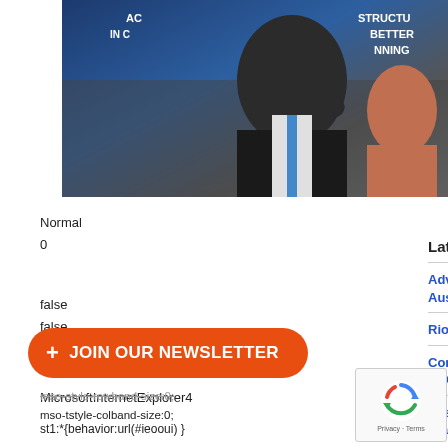[Figure (photo): Man in suit raising hand at a podium/event, blue banner background with partial text 'AC... STRUCTU... BETTER... NNING']
Normal
0
Latest News
Advertise your job openings with Australian Mining
Rio finally wins over Turquoise Hill
false
false
false
Conway moves on up as Evolution CEO
Research prompts study into uranium-vanadium plant
MicrosoftInternetExplorer4
st1:*{behavior:url(#ieooui) }
/* Style Definitions */
t
+ JOIN OUR NEWSLETTER
mso-style-rowband-size:0;
mso-tstyle-colband-size:0;
[Figure (other): reCAPTCHA widget with spinning arrows logo, Privacy · Terms text]